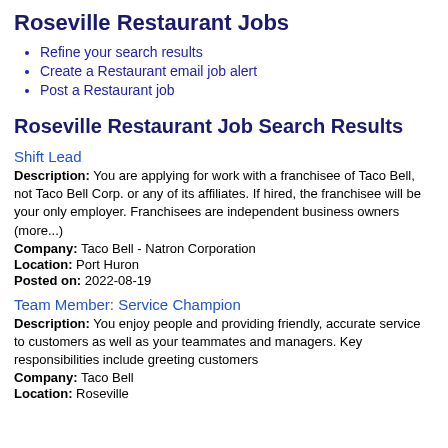Roseville Restaurant Jobs
Refine your search results
Create a Restaurant email job alert
Post a Restaurant job
Roseville Restaurant Job Search Results
Shift Lead
Description: You are applying for work with a franchisee of Taco Bell, not Taco Bell Corp. or any of its affiliates. If hired, the franchisee will be your only employer. Franchisees are independent business owners (more...)
Company: Taco Bell - Natron Corporation
Location: Port Huron
Posted on: 2022-08-19
Team Member: Service Champion
Description: You enjoy people and providing friendly, accurate service to customers as well as your teammates and managers. Key responsibilities include greeting customers
Company: Taco Bell
Location: Roseville